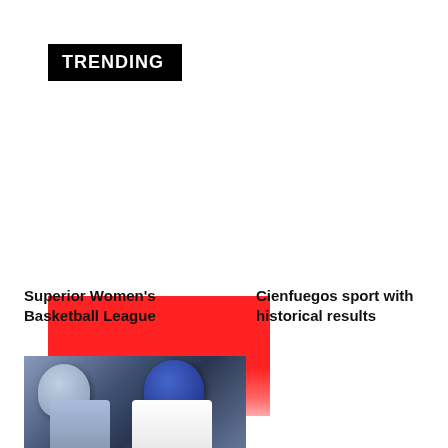TRENDING
[Figure (photo): Red blurred sports image placeholder]
Superior Women's Basketball League
Cienfuegos sport with historical results
[Figure (photo): Two baseball players in helmets facing each other]